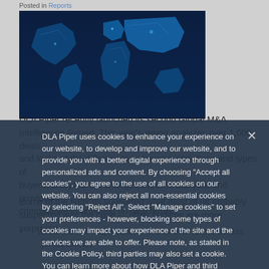Posted in Reports
[Figure (photo): Blue world map illustration with glowing topographic relief, dark blue tones]
DLA Piper recently launched its second Global M&A Intelligence Report. This year's report analyzes over 1,000 deals and looks at the differences between jurisdictions and types of buyers, analyzes the changes over the last year and provides comparative information on deal terms.
Some of the findings supported what most of us probably suspected was the case — other findings are more surprising.
DLA Piper uses cookies to enhance your experience on our website, to develop and improve our website, and to provide you with a better digital experience through personalized ads and content. By choosing "Accept all cookies", you agree to the use of all cookies on our website. You can also reject all non-essential cookies by selecting "Reject All". Select "Manage cookies" to set your preferences - however, blocking some types of cookies may impact your experience of the site and the services we are able to offer. Please note, as stated in the Cookie Policy, third parties may also set a cookie. You can learn more about how DLA Piper and third parties use your data by reading our Privacy Policy and Cookie Policy.
What are the major differences in deal terms across jurisdictions?